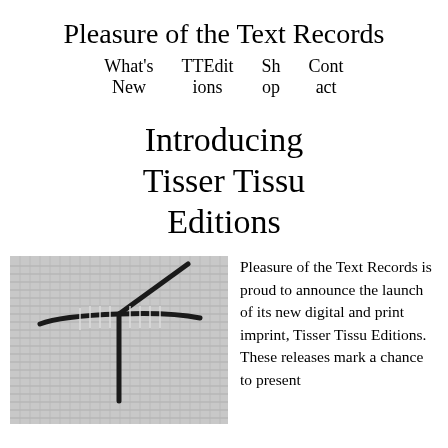Pleasure of the Text Records
What's New   TTEditions   Shop   Contact
Introducing Tisser Tissu Editions
[Figure (photo): Close-up black and white photograph of woven fabric with dark thread stitching in a cross/T pattern over a lighter woven textile background.]
Pleasure of the Text Records is proud to announce the launch of its new digital and print imprint, Tisser Tissu Editions. These releases mark a chance to present